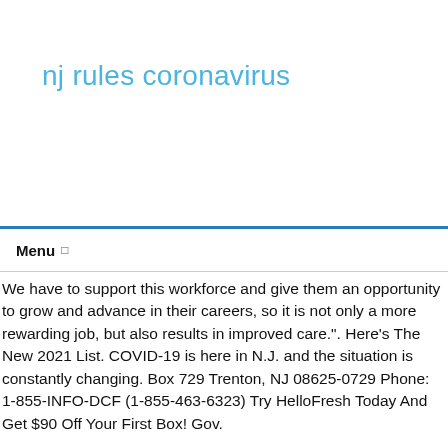nj rules coronavirus
Menu
We have to support this workforce and give them an opportunity to grow and advance in their careers, so it is not only a more rewarding job, but also results in improved care.". Here's The New 2021 List. COVID-19 is here in N.J. and the situation is constantly changing. Box 729 Trenton, NJ 08625-0729 Phone: 1-855-INFO-DCF (1-855-463-6323) Try HelloFresh Today And Get $90 Off Your First Box! Gov.